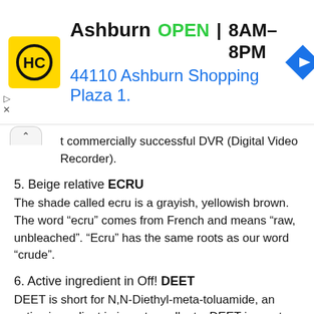[Figure (infographic): Advertisement banner for HC store in Ashburn. Shows HC logo (yellow square with HC in circle), store name Ashburn, OPEN status, hours 8AM-8PM, address 44110 Ashburn Shopping Plaza 1., and a blue navigation arrow icon. Small play and X controls on left side.]
t commercially successful DVR (Digital Video Recorder).
5. Beige relative ECRU
The shade called ecru is a grayish, yellowish brown. The word “ecru” comes from French and means “raw, unbleached”. “Ecru” has the same roots as our word “crude”.
6. Active ingredient in Off! DEET
DEET is short for N,N-Diethyl-meta-toluamide, an active ingredient in insect repellents. DEET is most often used to repel mosquitoes by applying it to the skin and/or clothing. It is also used to protect against tick bites.